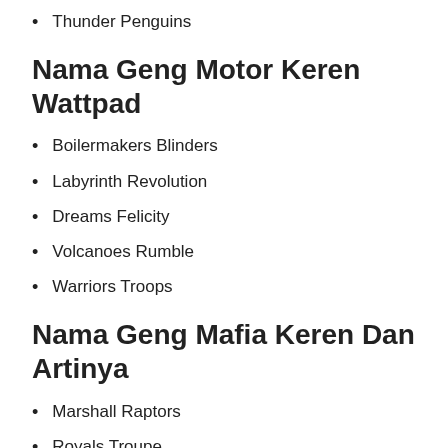Thunder Penguins
Nama Geng Motor Keren Wattpad
Boilermakers Blinders
Labyrinth Revolution
Dreams Felicity
Volcanoes Rumble
Warriors Troops
Nama Geng Mafia Keren Dan Artinya
Marshall Raptors
Royals Troupe
Mission Fellow